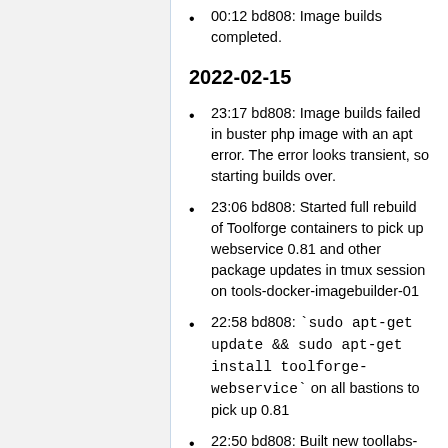00:12 bd808: Image builds completed.
2022-02-15
23:17 bd808: Image builds failed in buster php image with an apt error. The error looks transient, so starting builds over.
23:06 bd808: Started full rebuild of Toolforge containers to pick up webservice 0.81 and other package updates in tmux session on tools-docker-imagebuilder-01
22:58 bd808: `sudo apt-get update && sudo apt-get install toolforge-webservice` on all bastions to pick up 0.81
22:50 bd808: Built new toollabs-webservice 0.81
18:43 bd808: Enabled puppet on